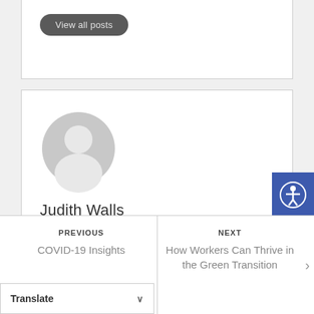[Figure (screenshot): Partial author card at top showing a 'View all posts' button on dark rounded pill background]
View all posts
[Figure (screenshot): Author card with generic grey user avatar silhouette, name 'Judith Walls', and 'View all posts' button]
Judith Walls
View all posts
[Figure (other): Blue accessibility icon button on right edge]
PREVIOUS
COVID-19 Insights
NEXT
How Workers Can Thrive in the Green Transition
Translate